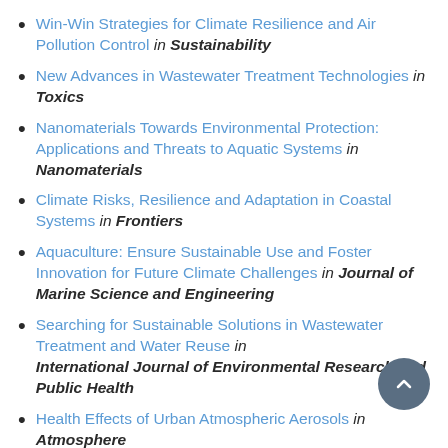Win-Win Strategies for Climate Resilience and Air Pollution Control in Sustainability
New Advances in Wastewater Treatment Technologies in Toxics
Nanomaterials Towards Environmental Protection: Applications and Threats to Aquatic Systems in Nanomaterials
Climate Risks, Resilience and Adaptation in Coastal Systems in Frontiers
Aquaculture: Ensure Sustainable Use and Foster Innovation for Future Climate Challenges in Journal of Marine Science and Engineering
Searching for Sustainable Solutions in Wastewater Treatment and Water Reuse in International Journal of Environmental Research and Public Health
Health Effects of Urban Atmospheric Aerosols in Atmosphere